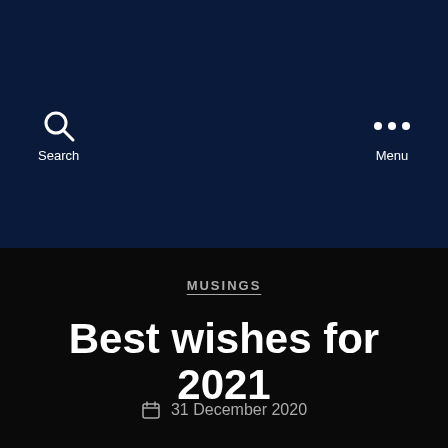[Figure (screenshot): Dark navy blue header area of a website with a search icon and label on the left and a three-dot menu icon with Menu label on the right]
MUSINGS
Best wishes for 2021
31 December 2020